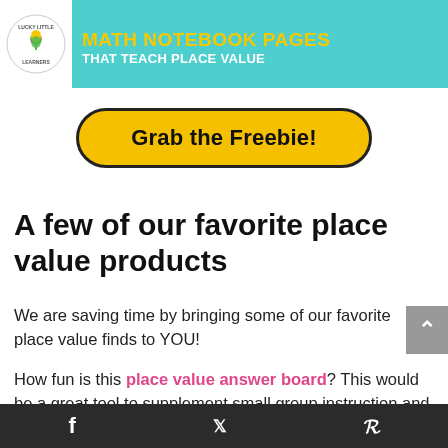[Figure (logo): Lucky Little Learners logo — circular badge with shamrock in center and text around edge]
MATH NOTEBOOK PAGES THAT TEACH PLACE VALUE
[Figure (illustration): Yellow rounded pill-shaped button reading 'Grab the Freebie!']
A few of our favorite place value products
We are saving time by bringing some of our favorite place value finds to YOU!
How fun is this place value answer board? This would be a great tool to supplement small group instruction and games, or quickly check for
f   Twitter   P